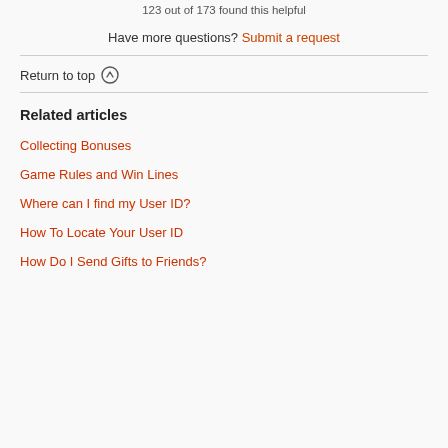123 out of 173 found this helpful
Have more questions? Submit a request
Return to top ↑
Related articles
Collecting Bonuses
Game Rules and Win Lines
Where can I find my User ID?
How To Locate Your User ID
How Do I Send Gifts to Friends?